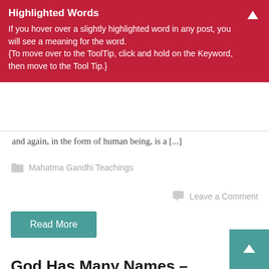Highlighted Words
If you hover over a slightly highlighted word in any post, you will see a meaning for the word. {To move over to the ToolTip, click and hold on the Keyword, then move to the Tool Tip.}
and again, in the form of human being, is a [...]
Mahatma Gandhi Teachings
Leave a Comment
Read More
God Has Many Names – Gandhi